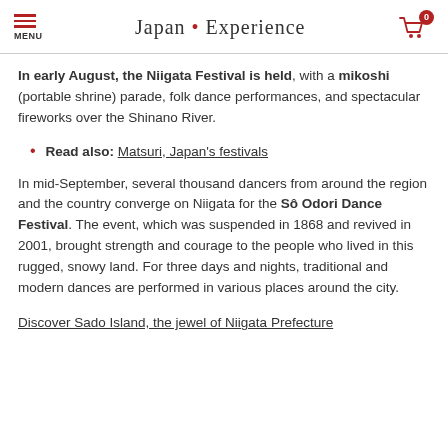MENU | Japan • Experience | 0
In early August, the Niigata Festival is held, with a mikoshi (portable shrine) parade, folk dance performances, and spectacular fireworks over the Shinano River.
Read also: Matsuri, Japan's festivals
In mid-September, several thousand dancers from around the region and the country converge on Niigata for the Sô Odori Dance Festival. The event, which was suspended in 1868 and revived in 2001, brought strength and courage to the people who lived in this rugged, snowy land. For three days and nights, traditional and modern dances are performed in various places around the city.
Discover Sado Island, the jewel of Niigata Prefecture